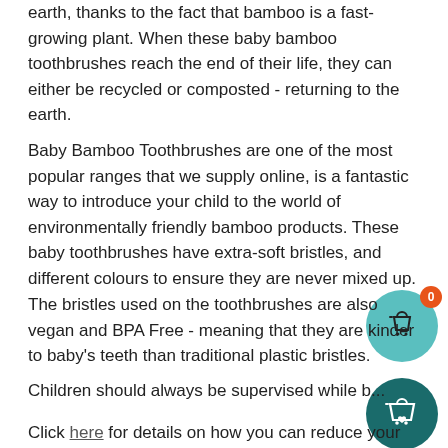earth, thanks to the fact that bamboo is a fast-growing plant. When these baby bamboo toothbrushes reach the end of their life, they can either be recycled or composted - returning to the earth.
Baby Bamboo Toothbrushes are one of the most popular ranges that we supply online, is a fantastic way to introduce your child to the world of environmentally friendly bamboo products. These baby toothbrushes have extra-soft bristles, and different colours to ensure they are never mixed up.
[Figure (illustration): Light teal/cyan circle with a shopping bag icon outline in dark color, and an orange badge with '0' in the top-right]
The bristles used on the toothbrushes are also vegan and BPA Free - meaning that they are kinder to baby's teeth than traditional plastic bristles.
[Figure (illustration): Dark teal circle with a shopping bag icon containing a heart symbol]
Children should always be supervised while b...
Click here for details on how you can reduce your